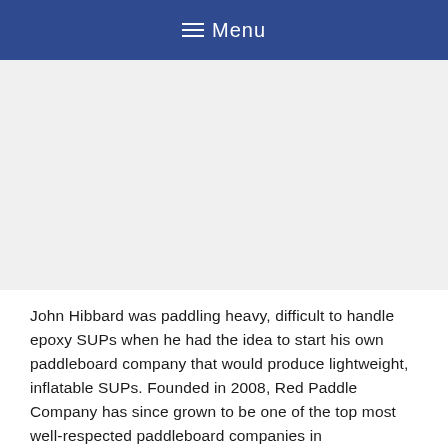≡ Menu
[Figure (other): Advertisement or blank placeholder area]
John Hibbard was paddling heavy, difficult to handle epoxy SUPs when he had the idea to start his own paddleboard company that would produce lightweight, inflatable SUPs. Founded in 2008, Red Paddle Company has since grown to be one of the top most well-respected paddleboard companies in